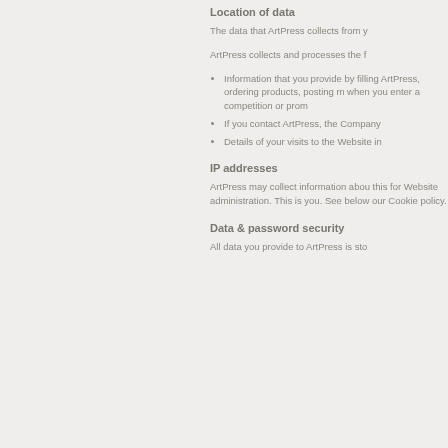Location of data
The data that ArtPress collects from y
ArtPress collects and processes the f
Information that you provide by filling ArtPress, ordering products, posting m when you enter a competition or prom
If you contact ArtPress, the Company
Details of your visits to the Website in
IP addresses
ArtPress may collect information abou this for Website administration. This is you. See below our Cookie policy.
Data & password security
All data you provide to ArtPress is sto